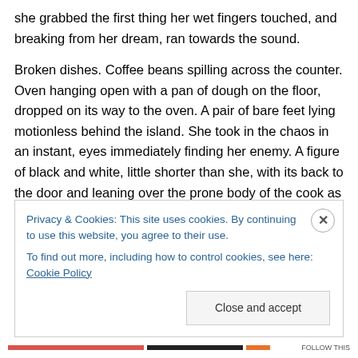she grabbed the first thing her wet fingers touched, and breaking from her dream, ran towards the sound.
Broken dishes. Coffee beans spilling across the counter. Oven hanging open with a pan of dough on the floor, dropped on its way to the oven. A pair of bare feet lying motionless behind the island. She took in the chaos in an instant, eyes immediately finding her enemy. A figure of black and white, little shorter than she, with its back to the door and leaning over the prone body of the cook as it pressed a long sharp beak into his face. Allisa gagged again as an eyeball popped free and swung from the
Privacy & Cookies: This site uses cookies. By continuing to use this website, you agree to their use.
To find out more, including how to control cookies, see here: Cookie Policy
Close and accept